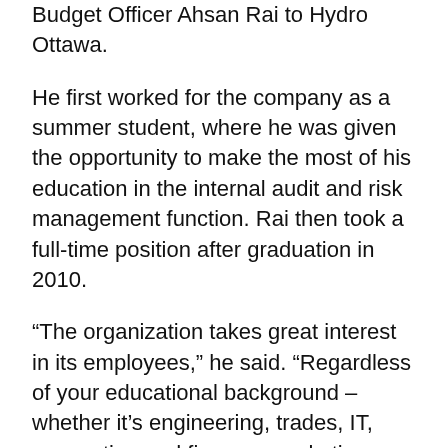Budget Officer Ahsan Rai to Hydro Ottawa.
He first worked for the company as a summer student, where he was given the opportunity to make the most of his education in the internal audit and risk management function. Rai then took a full-time position after graduation in 2010.
“The organization takes great interest in its employees,” he said. “Regardless of your educational background – whether it’s engineering, trades, IT, accounting and finance, marketing or human resources – Hydro Ottawa is a place where you can truly build a career.”